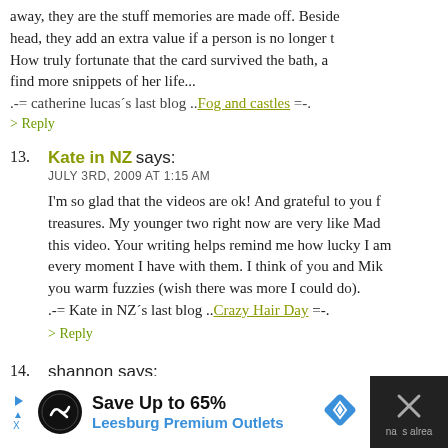away, they are the stuff memories are made off. Besides head, they add an extra value if a person is no longer th How truly fortunate that the card survived the bath, an find more snippets of her life...
.-= catherine lucas´s last blog ..Fog and castles =-.
> Reply
13. Kate in NZ says: JULY 3RD, 2009 AT 1:15 AM
I'm so glad that the videos are ok! And grateful to you f treasures. My younger two right now are very like Mad this video. Your writing helps remind me how lucky I am every moment I have with them. I think of you and Mike you warm fuzzies (wish there was more I could do). .-= Kate in NZ´s last blog ..Crazy Hair Day =-.
> Reply
14. shannon says:
[Figure (infographic): Advertisement bar: Save Up to 65% Leesburg Premium Outlets with logo and navigation arrow icon]